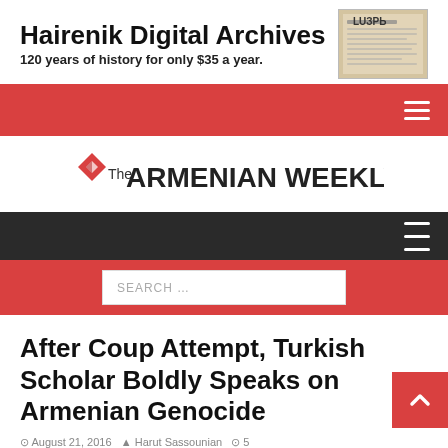[Figure (logo): Hairenik Digital Archives banner ad with newspaper image. Text: Hairenik Digital Archives, 120 years of history for only $35 a year.]
[Figure (logo): The Armenian Weekly logo with red diamond/arrow icon]
After Coup Attempt, Turkish Scholar Boldly Speaks on Armenian Genocide
August 21, 2016 · Harut Sassounian · 5